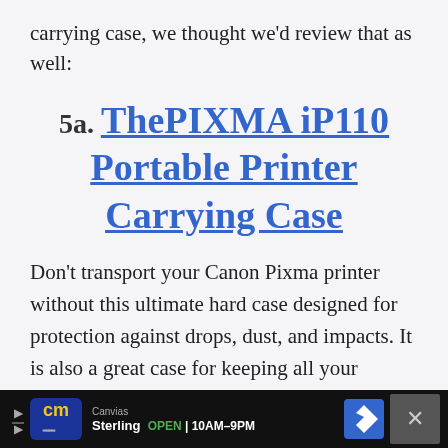carrying case, we thought we'd review that as well:
5a. ThePIXMA iP110 Portable Printer Carrying Case
Don't transport your Canon Pixma printer without this ultimate hard case designed for protection against drops, dust, and impacts. It is also a great case for keeping all your printer components intact in one place. Its exterior is made of
Canvias | Sterling OPEN 10AM–9PM | cm